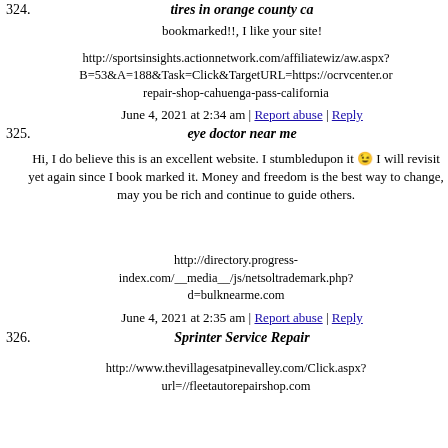tires in orange county ca
bookmarked!!, I like your site!
http://sportsinsights.actionnetwork.com/affiliatewiz/aw.aspx?B=53&A=188&Task=Click&TargetURL=https://ocrvcenter.or repair-shop-cahuenga-pass-california
June 4, 2021 at 2:34 am | Report abuse | Reply
eye doctor near me
Hi, I do believe this is an excellent website. I stumbledupon it 😉 I will revisit yet again since I book marked it. Money and freedom is the best way to change, may you be rich and continue to guide others.
http://directory.progress-index.com/__media__/js/netsoltrademark.php?d=bulknearme.com
June 4, 2021 at 2:35 am | Report abuse | Reply
Sprinter Service Repair
http://www.thevillagesatpinevalley.com/Click.aspx?url=//fleetautorepairshop.com